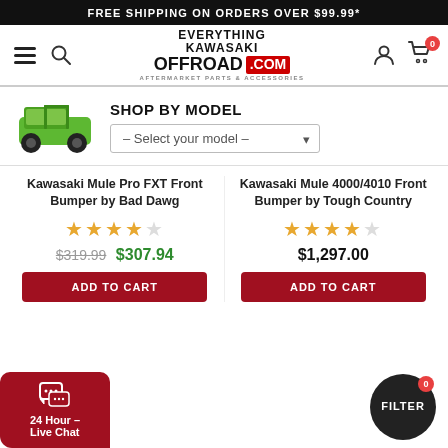FREE SHIPPING ON ORDERS OVER $99.99*
[Figure (logo): Everything Kawasaki Offroad .com logo with hamburger menu, search icon, user icon, and cart icon showing 0 items]
SHOP BY MODEL
– Select your model –
Kawasaki Mule Pro FXT Front Bumper by Bad Dawg
Kawasaki Mule 4000/4010 Front Bumper by Tough Country
★★★★☆ (rating)
★★★★☆ (rating)
$319.99  $307.94
$1,297.00
ADD TO CART
ADD TO CART
24 Hour – Live Chat
FILTER 0